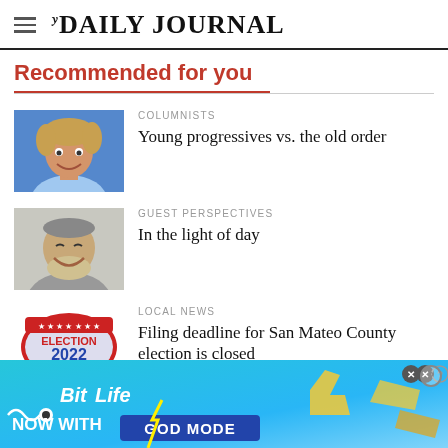THE DAILY JOURNAL
Recommended for you
COLUMNISTS
Young progressives vs. the old order
GUEST PERSPECTIVES
In the light of day
LOCAL NEWS
Filing deadline for San Mateo County election is closed
NATIONAL
[Figure (screenshot): BitLife advertisement banner - Now with GOD MODE]